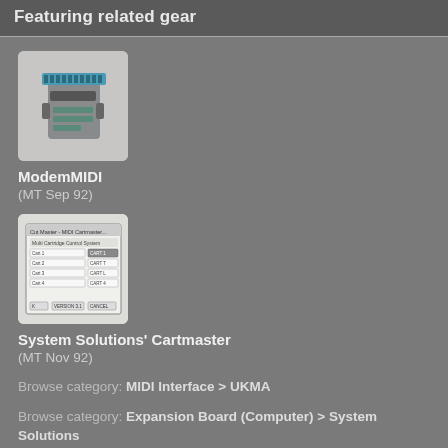Featuring related gear
[Figure (photo): Photo of ModemMIDI device — a grey hardware unit with a connector strip]
ModemMIDI
(MT Sep 92)
[Figure (screenshot): Screenshot of System Solutions' Cartmaster software dialog showing multi-cartridge control options]
System Solutions' Cartmaster
(MT Nov 92)
Browse category: MIDI Interface > UKMA
Browse category: Expansion Board (Computer) > System Solutions